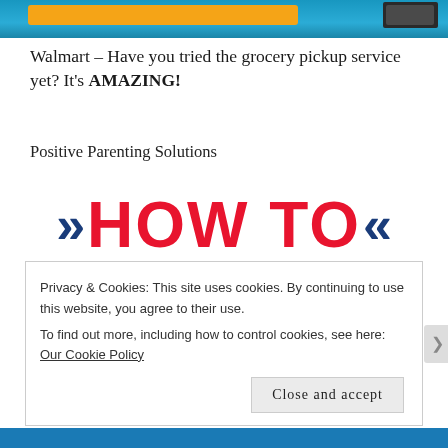[Figure (screenshot): Top banner image with blue background and orange button bar, partially cropped]
Walmart – Have you tried the grocery pickup service yet? It's AMAZING!
Positive Parenting Solutions
[Figure (illustration): Decorative text graphic: blue chevrons flanking red 'HOW TO' text, with blue 'get kids to' text below]
Privacy & Cookies: This site uses cookies. By continuing to use this website, you agree to their use.
To find out more, including how to control cookies, see here: Our Cookie Policy
Close and accept